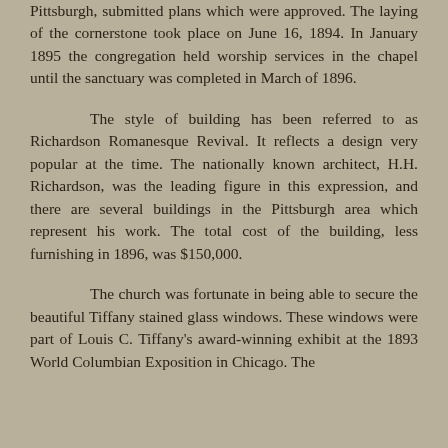Pittsburgh, submitted plans which were approved. The laying of the cornerstone took place on June 16, 1894. In January 1895 the congregation held worship services in the chapel until the sanctuary was completed in March of 1896.
The style of building has been referred to as Richardson Romanesque Revival. It reflects a design very popular at the time. The nationally known architect, H.H. Richardson, was the leading figure in this expression, and there are several buildings in the Pittsburgh area which represent his work. The total cost of the building, less furnishing in 1896, was $150,000.
The church was fortunate in being able to secure the beautiful Tiffany stained glass windows. These windows were part of Louis C. Tiffany's award-winning exhibit at the 1893 World Columbian Exposition in Chicago. The